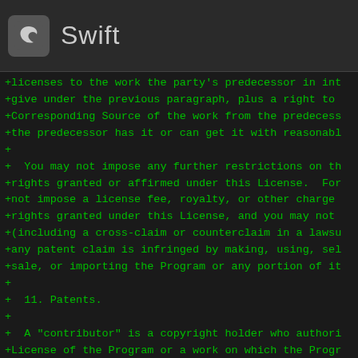Swift
+licenses to the work the party's predecessor in int
+give under the previous paragraph, plus a right to
+Corresponding Source of the work from the predecess
+the predecessor has it or can get it with reasonabl
+
+  You may not impose any further restrictions on th
+rights granted or affirmed under this License.  For
+not impose a license fee, royalty, or other charge
+rights granted under this License, and you may not
+(including a cross-claim or counterclaim in a lawsu
+any patent claim is infringed by making, using, sel
+sale, or importing the Program or any portion of it
+
+  11. Patents.
+
+  A "contributor" is a copyright holder who authori
+License of the Program or a work on which the Progr
+work thus licensed is called the contributor's "con
+
+  A contributor's "essential patent claims" are all